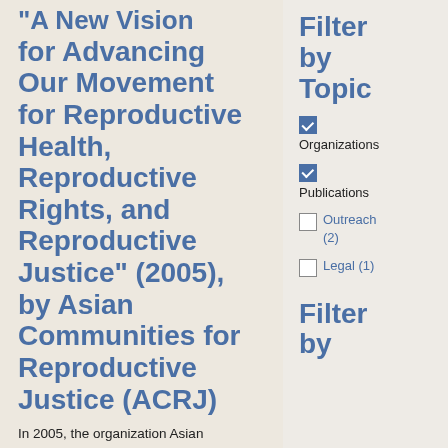"A New Vision for Advancing Our Movement for Reproductive Health, Reproductive Rights, and Reproductive Justice" (2005), by Asian Communities for Reproductive Justice (ACRJ)
In 2005, the organization Asian Communities for
Filter by Topic
Organizations
Publications
Outreach (2)
Legal (1)
Filter by